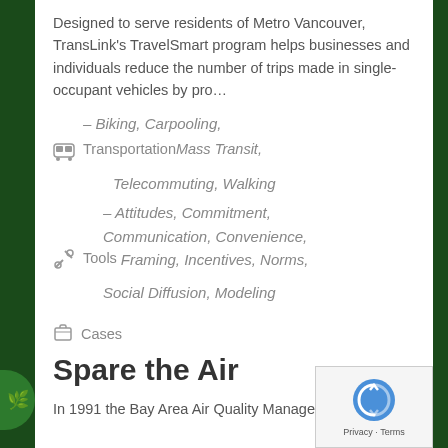Designed to serve residents of Metro Vancouver, TransLink's TravelSmart program helps businesses and individuals reduce the number of trips made in single-occupant vehicles by pro…
– Biking, Carpooling,
Transportation Mass Transit, Telecommuting, Walking
– Attitudes, Commitment, Communication, Convenience, Framing, Incentives, Norms, Social Diffusion, Modeling
Tools
Cases
Spare the Air
In 1991 the Bay Area Air Quality Management